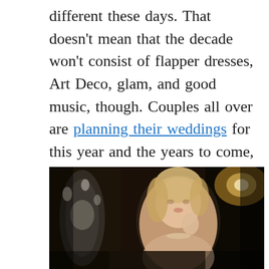different these days. That doesn't mean that the decade won't consist of flapper dresses, Art Deco, glam, and good music, though. Couples all over are planning their weddings for this year and the years to come, and we know the one thing they've been most excited about is the chance to play a little dress up.
[Figure (photo): A blonde woman in a glamorous 1920s-style setting with candelabras and warm lighting in the background, suggesting a Great Gatsby aesthetic. She appears to be wearing a strapless dress and jewelry.]